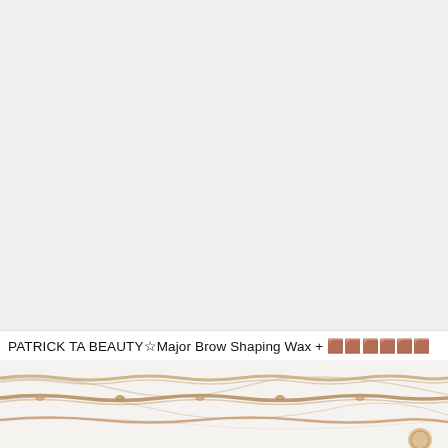[Figure (photo): Large light gray/off-white background area, top portion of a product photo layout]
PATRICK TA BEAUTY☆Major Brow Shaping Wax + 🟫🟫🟫🟫🟫🟫
[Figure (photo): Bottom portion showing rose gold/gold chains on a white marble surface with gold veining]